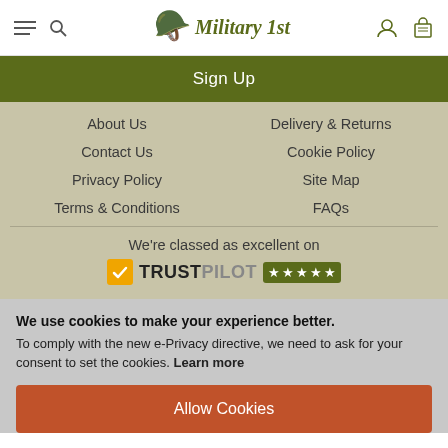Military 1st
Sign Up
About Us
Delivery & Returns
Contact Us
Cookie Policy
Privacy Policy
Site Map
Terms & Conditions
FAQs
We're classed as excellent on TRUSTPILOT ★★★★★
We use cookies to make your experience better. To comply with the new e-Privacy directive, we need to ask for your consent to set the cookies. Learn more
Allow Cookies